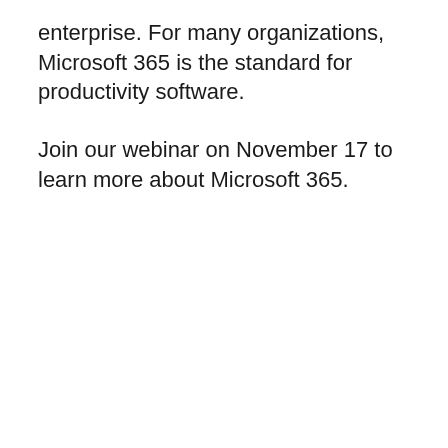enterprise. For many organizations, Microsoft 365 is the standard for productivity software.
Join our webinar on November 17 to learn more about Microsoft 365.